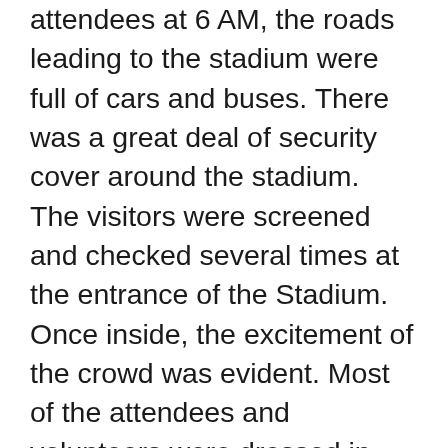attendees at 6 AM, the roads leading to the stadium were full of cars and buses. There was a great deal of security cover around the stadium.
The visitors were screened and checked several times at the entrance of the Stadium. Once inside, the excitement of the crowd was evident. Most of the attendees and volunteers were dressed in traditional Indian clothes in vibrant colors. The program started with a blissful Punjabi Prayer to Guru Nanak. It was followed by dances and songs from the states Kerala, West Bengal, Gujarat, Punjab, and fusion of some states. There was also an interesting presentation on the second-Generation Indian Americans born and raised in the United States who grow up with a identify crisis